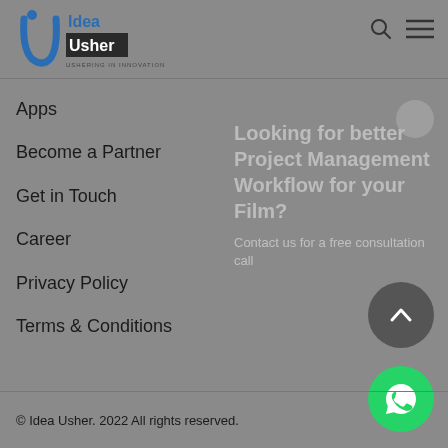[Figure (logo): Idea Usher logo with 'U' icon and text 'Idea Usher - Ushering in Innovation']
Apps
Become a Partner
Get in Touch
Career
Privacy Policy
Terms & Conditions
Looking for better Project Management Workflow for your Film?
Contact us for a free consultation call
© Idea Usher. 2022 All rights reserved.